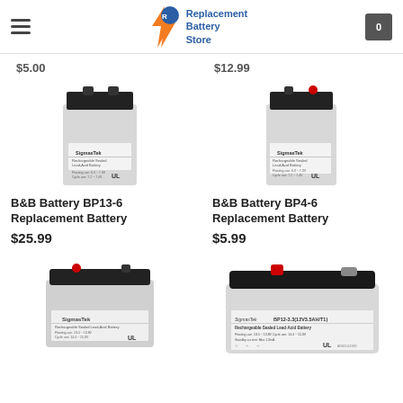Replacement Battery Store
$5.00
$12.99
[Figure (photo): SigmasTek small sealed lead-acid battery with black top, B&B Battery BP13-6 Replacement Battery]
B&B Battery BP13-6 Replacement Battery
$25.99
[Figure (photo): SigmasTek small sealed lead-acid battery with black top and red terminal, B&B Battery BP4-6 Replacement Battery]
B&B Battery BP4-6 Replacement Battery
$5.99
[Figure (photo): SigmasTek medium sealed lead-acid battery with black top and red terminal]
[Figure (photo): SigmasTek wide sealed lead-acid battery (BP12-3.3) with black top and red terminal, Rechargeable Sealed Lead-Acid Battery]